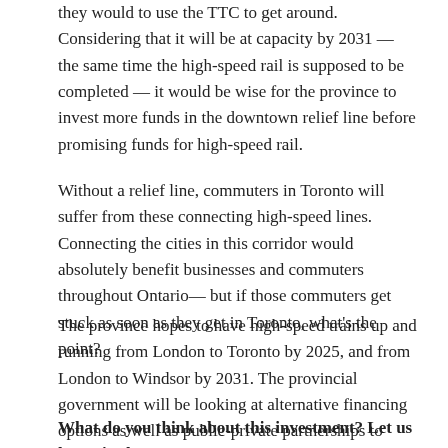they would to use the TTC to get around. Considering that it will be at capacity by 2031 — the same time the high-speed rail is supposed to be completed — it would be wise for the province to invest more funds in the downtown relief line before promising funds for high-speed rail.
Without a relief line, commuters in Toronto will suffer from these connecting high-speed lines. Connecting the cities in this corridor would absolutely benefit businesses and commuters throughout Ontario— but if those commuters get stuck as soon as they get in Toronto, what's the point?
The province hopes to have high-speed trains up and running from London to Toronto by 2025, and from London to Windsor by 2031. The provincial government will be looking at alternative financing options as well as public-private partnerships to fund the rest of the rail line.
What do you think about this investment? Let us know in the